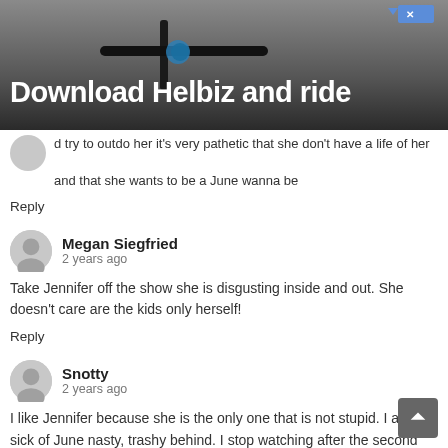[Figure (photo): Advertisement banner for 'Download Helbiz and ride' showing a close-up of a scooter handlebar.]
d try to outdo her it's very pathetic that she don't have a life of her and that she wants to be a June wanna be
Reply
Megan Siegfried
2 years ago
Take Jennifer off the show she is disgusting inside and out. She doesn't care are the kids only herself!
Reply
Snotty
2 years ago
I like Jennifer because she is the only one that is not stupid. I am sick of June nasty, trashy behind. I stop watching after the second show with doe doe in it. WE TV take that off the air.